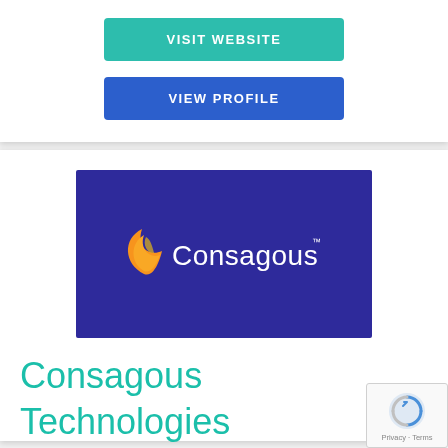VISIT WEBSITE
VIEW PROFILE
[Figure (logo): Consagous Technologies logo on dark blue/indigo background — orange flame-like swoosh icon to the left of white text reading 'Consagous' with a small trademark symbol]
Consagous Technologies